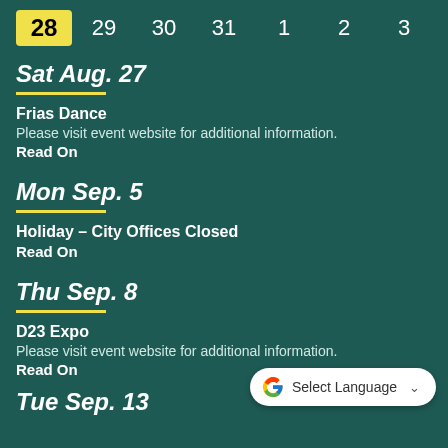28  29  30  31  1  2  3
Sat Aug. 27
Frias Dance
Please visit event website for additional information.
Read On
Mon Sep. 5
Holiday - City Offices Closed
Read On
Thu Sep. 8
D23 Expo
Please visit event website for additional information.
Read On
Tue Sep. 13